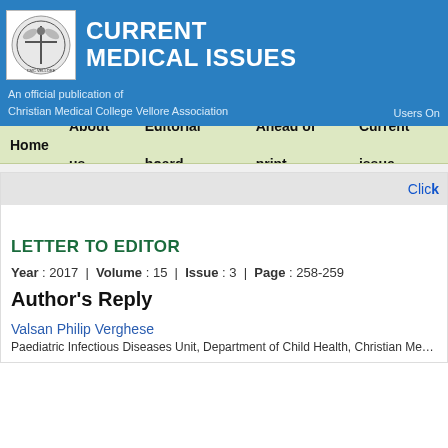[Figure (logo): Christian Medical College Vellore Association logo, circular emblem in white box]
CURRENT MEDICAL ISSUES
An official publication of Christian Medical College Vellore Association
Users On
Home | About us | Editorial board | Ahead of print | Current issue
Click
LETTER TO EDITOR
Year : 2017  |  Volume : 15  |  Issue : 3  |  Page : 258-259
Author's Reply
Valsan Philip Verghese
Paediatric Infectious Diseases Unit, Department of Child Health, Christian Medical Colle